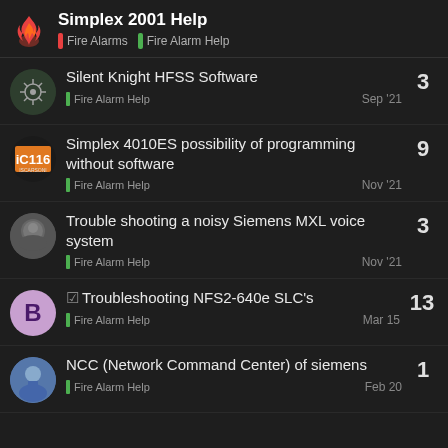Simplex 2001 Help | Fire Alarms | Fire Alarm Help
Silent Knight HFSS Software | Fire Alarm Help | Sep '21 | 3 replies
Simplex 4010ES possibility of programming without software | Fire Alarm Help | Nov '21 | 9 replies
Trouble shooting a noisy Siemens MXL voice system | Fire Alarm Help | Nov '21 | 3 replies
Troubleshooting NFS2-640e SLC's | Fire Alarm Help | Mar 15 | 13 replies
NCC (Network Command Center) of siemens | Fire Alarm Help | Feb 20 | 1 reply